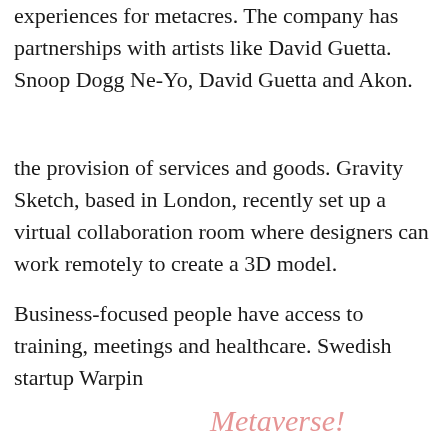experiences for metacres. The company has partnerships with artists like David Guetta. Snoop Dogg Ne-Yo, David Guetta and Akon.
the provision of services and goods. Gravity Sketch, based in London, recently set up a virtual collaboration room where designers can work remotely to create a 3D model.
Business-focused people have access to training, meetings and healthcare. Swedish startup Warpin
[Figure (screenshot): Video player overlay showing 'No compatible source was found for this media.' error message with an X close button, overlaid on a background showing a watermark reading 'Is Metaverse!']